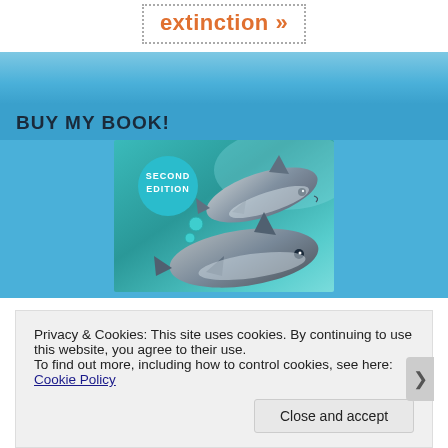extinction »
BUY MY BOOK!
[Figure (illustration): Book cover showing two dolphins underwater, with 'SECOND EDITION' badge in teal circle, on a teal/aqua background]
Privacy & Cookies: This site uses cookies. By continuing to use this website, you agree to their use.
To find out more, including how to control cookies, see here: Cookie Policy
Close and accept